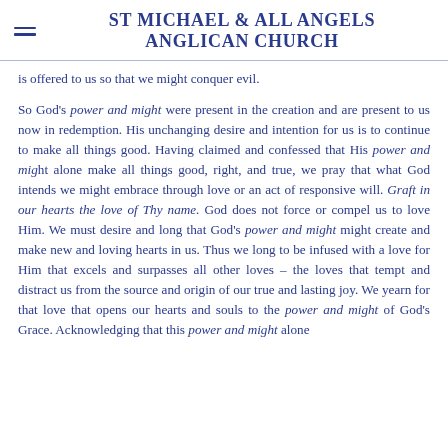ST MICHAEL & ALL ANGELS ANGLICAN CHURCH
is offered to us so that we might conquer evil.
So God's power and might were present in the creation and are present to us now in redemption. His unchanging desire and intention for us is to continue to make all things good. Having claimed and confessed that His power and might alone make all things good, right, and true, we pray that what God intends we might embrace through love or an act of responsive will. Graft in our hearts the love of Thy name. God does not force or compel us to love Him. We must desire and long that God's power and might might create and make new and loving hearts in us. Thus we long to be infused with a love for Him that excels and surpasses all other loves – the loves that tempt and distract us from the source and origin of our true and lasting joy. We yearn for that love that opens our hearts and souls to the power and might of God's Grace. Acknowledging that this power and might alone